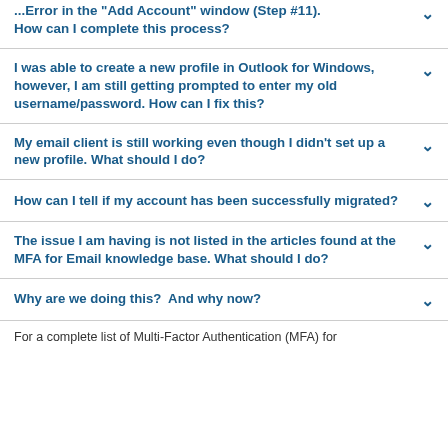...Error in the "Add Account" window (Step #11). How can I complete this process?
I was able to create a new profile in Outlook for Windows, however, I am still getting prompted to enter my old username/password. How can I fix this?
My email client is still working even though I didn't set up a new profile. What should I do?
How can I tell if my account has been successfully migrated?
The issue I am having is not listed in the articles found at the MFA for Email knowledge base. What should I do?
Why are we doing this?  And why now?
For a complete list of Multi-Factor Authentication (MFA) for